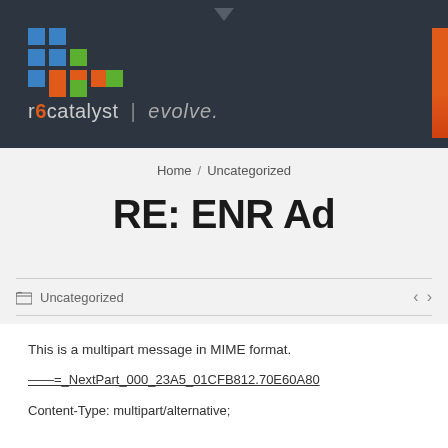r6catalyst | evolve.
Home / Uncategorized
RE: ENR Ad
Uncategorized
This is a multipart message in MIME format.
——=_NextPart_000_23A5_01CFB812.70E60A80
Content-Type: multipart/alternative;